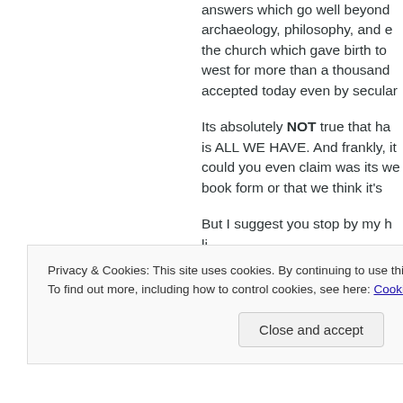answers which go well beyond archaeology, philosophy, and e… the church which gave birth to … west for more than a thousand … accepted today even by secular…
Its absolutely NOT true that ha… is ALL WE HAVE. And frankly, it… could you even claim was its we… book form or that we think it's …
But I suggest you stop by my h…
Privacy & Cookies: This site uses cookies. By continuing to use this website, you agree to their use.
To find out more, including how to control cookies, see here: Cookie Policy